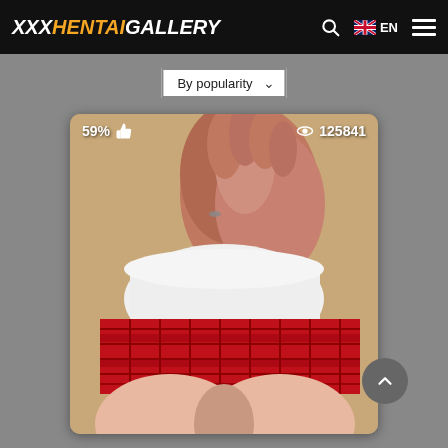XXXHENTAIGALLERY
By popularity
[Figure (screenshot): Thumbnail card showing 3D anime illustration with stats overlay: 59% like rating with thumbs up icon, and 125841 view count with eye icon]
59% 125841